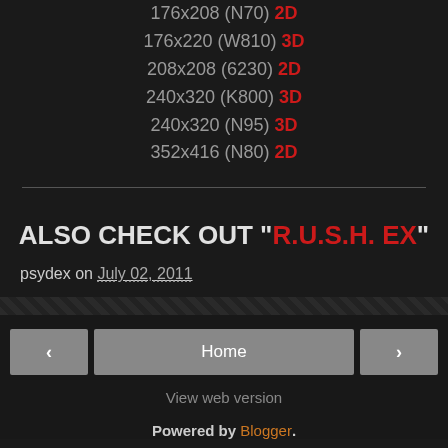176x208 (N70) 2D
176x220 (W810) 3D
208x208 (6230) 2D
240x320 (K800) 3D
240x320 (N95) 3D
352x416 (N80) 2D
ALSO CHECK OUT "R.U.S.H. EX"
psydex on July 02, 2011
Home | View web version | Powered by Blogger.